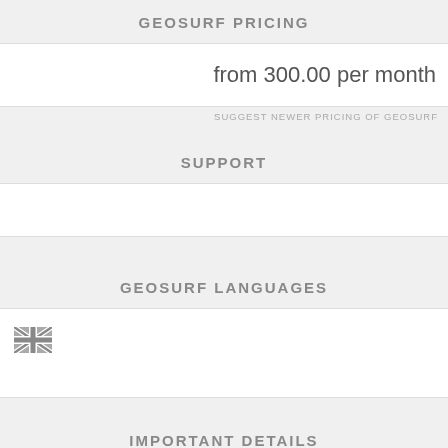GEOSURF PRICING
from 300.00 per month
SUGGEST NEWER PRICING OF GEOSURF
SUPPORT
GEOSURF LANGUAGES
[Figure (illustration): UK flag icon (Union Jack)]
IMPORTANT DETAILS